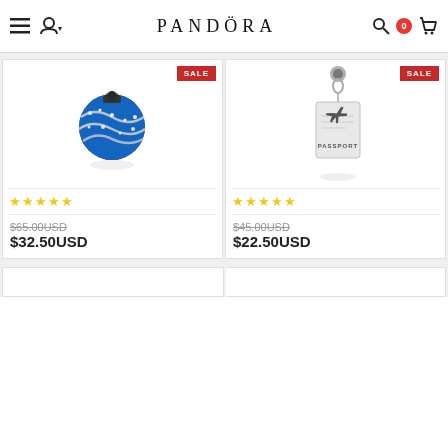PANDORA
[Figure (photo): Blue enamel Pandora charm with silver wave patterns and crystal accents, with SALE badge]
★★★★★
$65.00USD (strikethrough) $32.50USD
[Figure (photo): Silver Pandora passport dangle charm with airplane design, with SALE badge]
★★★★★
$45.00USD (strikethrough) $22.50USD